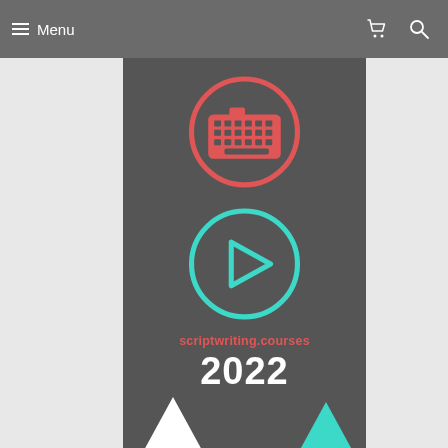Menu
[Figure (logo): Scriptwriting courses website screenshot showing navigation bar with Menu, cart and search icons, and a dark center panel with a red keyboard icon in a circle, a teal play button in a circle, the text 'scriptwriting.courses' in red, '2022' in white bold, and triangle decorations at the bottom.]
scriptwriting.courses
2022